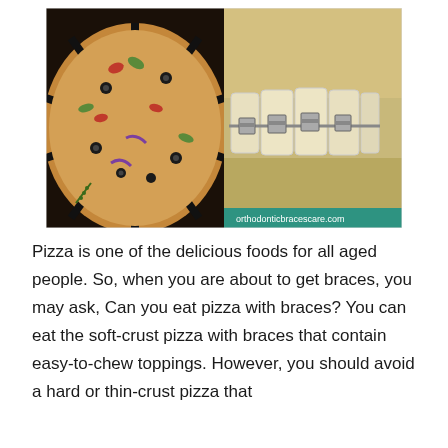[Figure (photo): Left half: overhead view of a sliced vegetable pizza cut into 8 triangular slices on a dark surface with colorful toppings (olives, peppers, zucchini, onions). Right half: close-up of dental teeth model showing metal orthodontic braces with wire brackets. Watermark text 'orthodonticbracescare.com' in teal bar at bottom right.]
Pizza is one of the delicious foods for all aged people. So, when you are about to get braces, you may ask, Can you eat pizza with braces? You can eat the soft-crust pizza with braces that contain easy-to-chew toppings. However, you should avoid a hard or thin-crust pizza that